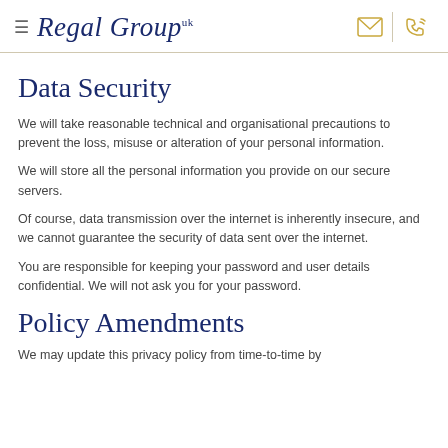Regal Group — navigation header with logo, email icon and phone icon
Data Security
We will take reasonable technical and organisational precautions to prevent the loss, misuse or alteration of your personal information.
We will store all the personal information you provide on our secure servers.
Of course, data transmission over the internet is inherently insecure, and we cannot guarantee the security of data sent over the internet.
You are responsible for keeping your password and user details confidential. We will not ask you for your password.
Policy Amendments
We may update this privacy policy from time-to-time by